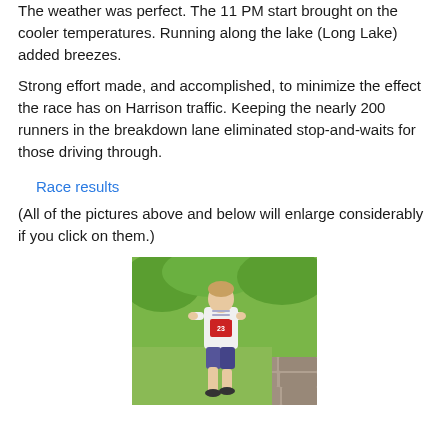The weather was perfect.  The 11 PM start brought on the cooler temperatures.  Running along the lake (Long Lake) added breezes.
Strong effort made, and accomplished, to minimize the effect the race has on Harrison traffic.  Keeping the nearly 200 runners in the breakdown lane eliminated stop-and-waits for those driving through.
Race results
(All of the pictures above and below will enlarge considerably if you click on them.)
[Figure (photo): A runner wearing a white t-shirt and race bib number 23 running in a race, with green grass and a stone wall in the background.]